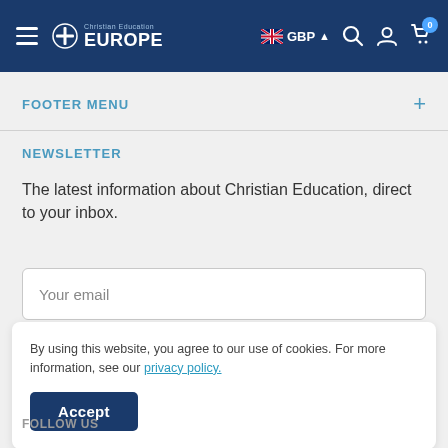Christian Education EUROPE — GBP — Navigation bar
FOOTER MENU
NEWSLETTER
The latest information about Christian Education, direct to your inbox.
Your email
By using this website, you agree to our use of cookies. For more information, see our privacy policy.
Accept
FOLLOW US